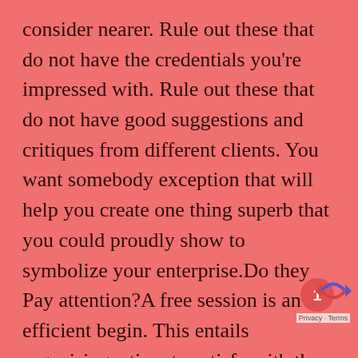consider nearer. Rule out these that do not have the credentials you're impressed with. Rule out these that do not have good suggestions and critiques from different clients. You want somebody exception that will help you create one thing superb that you could proudly show to symbolize your enterprise.Do they Pay attention?A free session is an efficient begin. This entails organising a time to satisfy with the exhibition stand contractors and see what they've to supply. Share with them what you're after, and see in the event that they actually hear. Do additionally they ask questions to provide them a transparent thought of what you're after? Understanding the parameters of your wants ought to assist them create